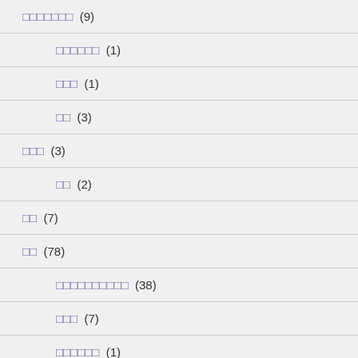ααααααα (9)
αααααα (1)
ααα (1)
αα (3)
ααα (3)
αα (2)
αα (7)
αα (78)
αααααααααα (38)
ααα (7)
αααααα (1)